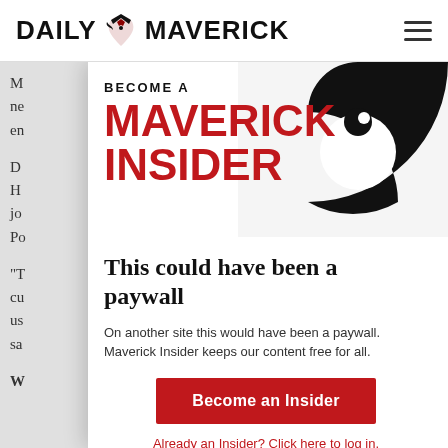DAILY MAVERICK
[Figure (logo): Daily Maverick logo with bird icon and hamburger menu]
[Figure (infographic): Maverick Insider promotional banner: BECOME A MAVERICK INSIDER in red bold uppercase, with black swirl graphic on the right]
This could have been a paywall
On another site this would have been a paywall. Maverick Insider keeps our content free for all.
Become an Insider
Already an Insider? Click here to log in.